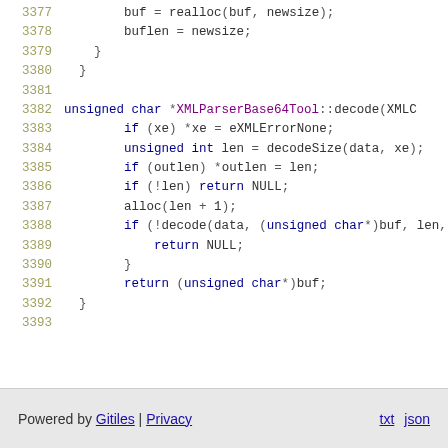Code listing lines 3377-3393: C++ source code showing realloc buffer logic and XMLParserBase64Tool::decode function implementation
Powered by Gitiles | Privacy    txt  json